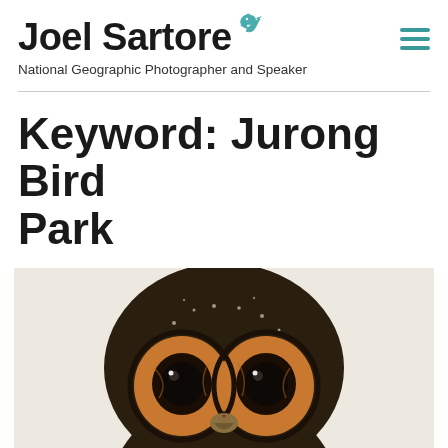Joel Sartore — National Geographic Photographer and Speaker
Keyword: Jurong Bird Park
[Figure (photo): Close-up portrait of an owl with large orange facial discs, dark brown plumage with white speckles, and large dark eyes, photographed against a light beige/cream background. The owl is centered in the frame, facing the camera directly.]